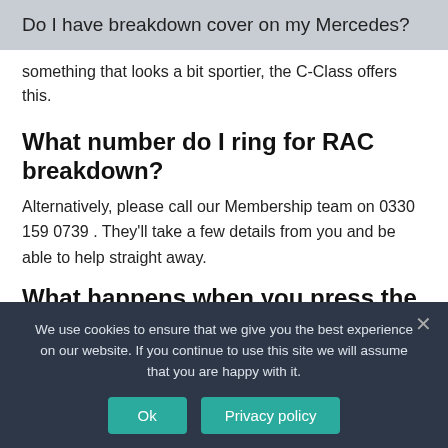Do I have breakdown cover on my Mercedes?
something that looks a bit sportier, the C-Class offers this.
What number do I ring for RAC breakdown?
Alternatively, please call our Membership team on 0330 159 0739 . They'll take a few details from you and be able to help straight away.
What happens when you press the SOS
We use cookies to ensure that we give you the best experience on our website. If you continue to use this site we will assume that you are happy with it.